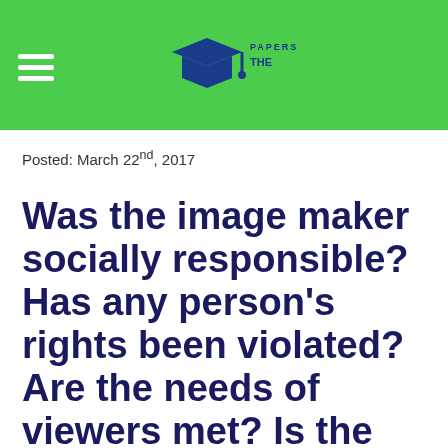[Figure (logo): The College Papers logo with graduation cap icon on green header bar]
Posted: March 22nd, 2017
Was the image maker socially responsible? Has any person's rights been violated? Are the needs of viewers met? Is the picture aesthetically